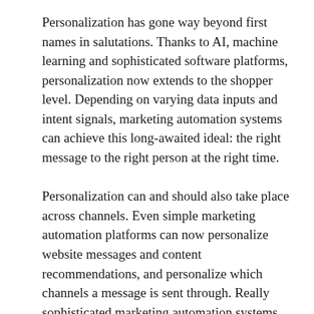Personalization has gone way beyond first names in salutations. Thanks to AI, machine learning and sophisticated software platforms, personalization now extends to the shopper level. Depending on varying data inputs and intent signals, marketing automation systems can achieve this long-awaited ideal: the right message to the right person at the right time.
Personalization can and should also take place across channels. Even simple marketing automation platforms can now personalize website messages and content recommendations, and personalize which channels a message is sent through. Really sophisticated marketing automation systems can personalize content for different members of a B2B buying group. So a CMO sees a slightly different (but still complementary) message than a marketing